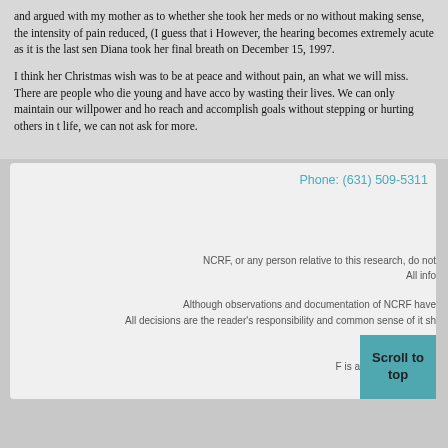and argued with my mother as to whether she took her meds or no without making sense, the intensity of pain reduced, (I guess that i However, the hearing becomes extremely acute as it is the last sen Diana took her final breath on December 15, 1997.

I think her Christmas wish was to be at peace and without pain, an what we will miss. There are people who die young and have acco by wasting their lives. We can only maintain our willpower and ho reach and accomplish goals without stepping or hurting others in t life, we can not ask for more.
Phone: (631) 509-5311
NCRF, or any person relative to this research, do not All info
Although observations and documentation of NCRF have All decisions are the reader's responsibility and common sense of it sh
F is a
Scroll to top